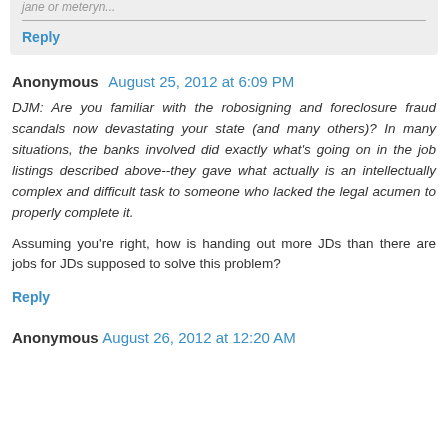jane or meteryn...
Reply
Anonymous  August 25, 2012 at 6:09 PM
DJM: Are you familiar with the robosigning and foreclosure fraud scandals now devastating your state (and many others)? In many situations, the banks involved did exactly what's going on in the job listings described above--they gave what actually is an intellectually complex and difficult task to someone who lacked the legal acumen to properly complete it.
Assuming you're right, how is handing out more JDs than there are jobs for JDs supposed to solve this problem?
Reply
Anonymous  August 26, 2012 at 12:20 AM